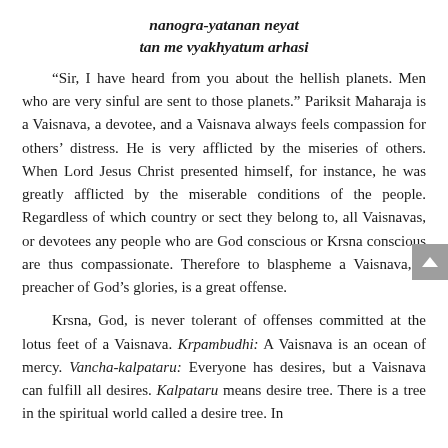nanogra-yatanan neyat
tan me vyakhyatum arhasi
"Sir, I have heard from you about the hellish planets. Men who are very sinful are sent to those planets." Pariksit Maharaja is a Vaisnava, a devotee, and a Vaisnava always feels compassion for others' distress. He is very afflicted by the miseries of others. When Lord Jesus Christ presented himself, for instance, he was greatly afflicted by the miserable conditions of the people. Regardless of which country or sect they belong to, all Vaisnavas, or devotees any people who are God conscious or Krsna conscious are thus compassionate. Therefore to blaspheme a Vaisnava, a preacher of God's glories, is a great offense.
Krsna, God, is never tolerant of offenses committed at the lotus feet of a Vaisnava. Krpambudhi: A Vaisnava is an ocean of mercy. Vancha-kalpataru: Everyone has desires, but a Vaisnava can fulfill all desires. Kalpataru means desire tree. There is a tree in the spiritual world called a desire tree. In